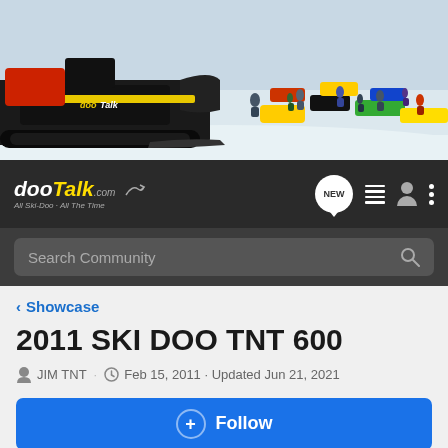[Figure (photo): Banner photo showing snowmobiles - a black Ski-Doo with red bag on the left, and a crowd of snowmobilers gathered on a snowy field on the right]
dooTalk.com - All Ski-Doo · All The Time
Search Community
< Showcase
2011 SKI DOO TNT 600
JIM TNT · Feb 15, 2011 · Updated Jun 21, 2021
+ Follow